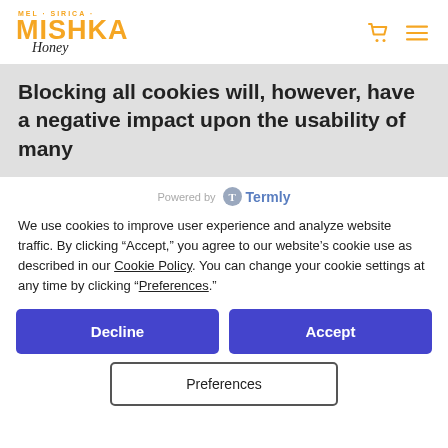[Figure (logo): Mishka Honey logo with cart and menu icons in header navigation]
Blocking all cookies will, however, have a negative impact upon the usability of many
Powered by Termly
We use cookies to improve user experience and analyze website traffic. By clicking “Accept,” you agree to our website’s cookie use as described in our Cookie Policy. You can change your cookie settings at any time by clicking “Preferences.”
Decline
Accept
Preferences